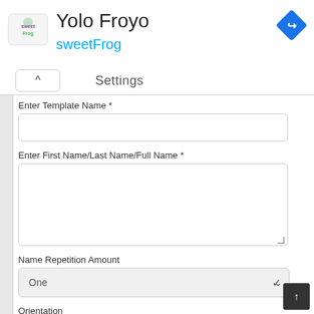[Figure (logo): sweetFrog logo with frog icon on the left]
Yolo Froyo
sweetFrog
[Figure (other): Blue diamond navigation turn-right icon in the top right corner]
Settings
Enter Template Name *
Enter First Name/Last Name/Full Name *
Name Repetition Amount
One
Orientation
Portrait
Landscape